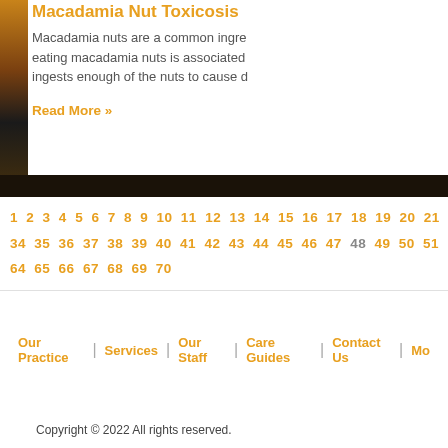Macadamia Nut Toxicosis
Macadamia nuts are a common ingre... eating macadamia nuts is associated... ingests enough of the nuts to cause d...
Read More »
1 2 3 4 5 6 7 8 9 10 11 12 13 14 15 16 17 18 19 20 21 34 35 36 37 38 39 40 41 42 43 44 45 46 47 48 49 50 51 64 65 66 67 68 69 70
Our Practice | Services | Our Staff | Care Guides | Contact Us | Mo
Copyright © 2022 All rights reserved.